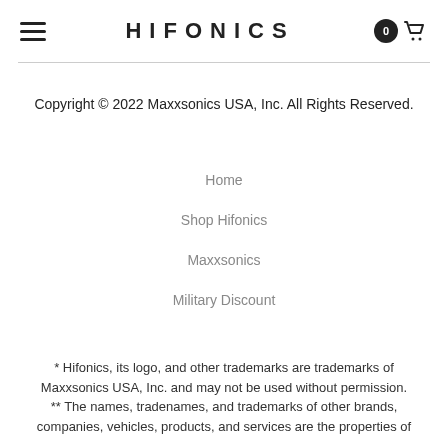HIFONICS — navigation header with hamburger menu and cart (0 items)
Copyright © 2022 Maxxsonics USA, Inc. All Rights Reserved.
Home
Shop Hifonics
Maxxsonics
Military Discount
* Hifonics, its logo, and other trademarks are trademarks of Maxxsonics USA, Inc. and may not be used without permission.
** The names, tradenames, and trademarks of other brands, companies, vehicles, products, and services are the properties of